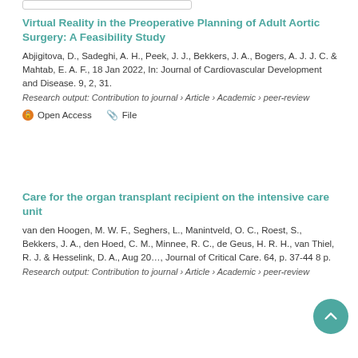Virtual Reality in the Preoperative Planning of Adult Aortic Surgery: A Feasibility Study
Abjigitova, D., Sadeghi, A. H., Peek, J. J., Bekkers, J. A., Bogers, A. J. J. C. & Mahtab, E. A. F., 18 Jan 2022, In: Journal of Cardiovascular Development and Disease. 9, 2, 31.
Research output: Contribution to journal › Article › Academic › peer-review
Open Access   File
Care for the organ transplant recipient on the intensive care unit
van den Hoogen, M. W. F., Seghers, L., Manintveld, O. C., Roest, S., Bekkers, J. A., den Hoed, C. M., Minnee, R. C., de Geus, H. R. H., van Thiel, R. J. & Hesselink, D. A., Aug 20…, Journal of Critical Care. 64, p. 37-44 8 p.
Research output: Contribution to journal › Article › Academic › peer-review